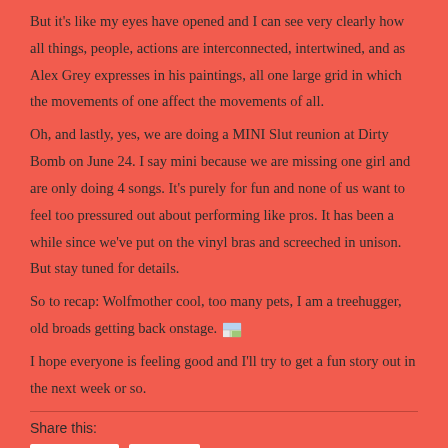But it's like my eyes have opened and I can see very clearly how all things, people, actions are interconnected, intertwined, and as Alex Grey expresses in his paintings, all one large grid in which the movements of one affect the movements of all.
Oh, and lastly, yes, we are doing a MINI Slut reunion at Dirty Bomb on June 24. I say mini because we are missing one girl and are only doing 4 songs. It's purely for fun and none of us want to feel too pressured out about performing like pros. It has been a while since we've put on the vinyl bras and screeched in unison. But stay tuned for details.
So to recap: Wolfmother cool, too many pets, I am a treehugger, old broads getting back onstage. [emoji]
I hope everyone is feeling good and I'll try to get a fun story out in the next week or so.
Share this: